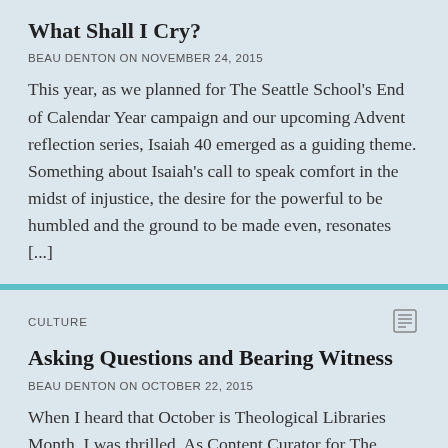What Shall I Cry?
BEAU DENTON ON NOVEMBER 24, 2015
This year, as we planned for The Seattle School's End of Calendar Year campaign and our upcoming Advent reflection series, Isaiah 40 emerged as a guiding theme. Something about Isaiah's call to speak comfort in the midst of injustice, the desire for the powerful to be humbled and the ground to be made even, resonates [...]
CULTURE
Asking Questions and Bearing Witness
BEAU DENTON ON OCTOBER 22, 2015
When I heard that October is Theological Libraries Month, I was thrilled. As Content Curator for The Seattle School, I'm in charge of gathering content for this blog, and a topic like "theological libraries" felt like a goldmine. With so many thoughtful, creative, spiritually minded people (like Kate